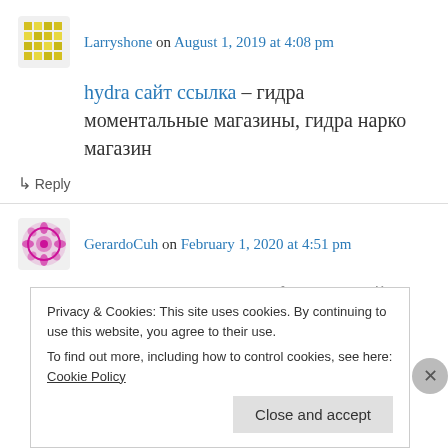Larryshone on August 1, 2019 at 4:08 pm
hydra сайт ссылка – гидра моментальные магазины, гидра нарко магазин
↳ Reply
GerardoCuh on February 1, 2020 at 4:51 pm
гидра ссылка – hydra официальный сайт, hydra официальный сайт
Privacy & Cookies: This site uses cookies. By continuing to use this website, you agree to their use. To find out more, including how to control cookies, see here: Cookie Policy